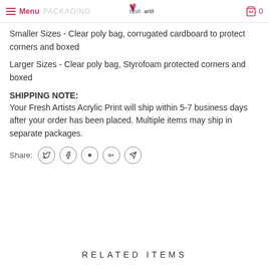Menu PACKAGING — fresh artists logo — cart 0
Smaller Sizes - Clear poly bag, corrugated cardboard to protect corners and boxed
Larger Sizes - Clear poly bag, Styrofoam protected corners and boxed
SHIPPING NOTE:
Your Fresh Artists Acrylic Print will ship within 5-7 business days after your order has been placed. Multiple items may ship in separate packages.
Share:
RELATED ITEMS